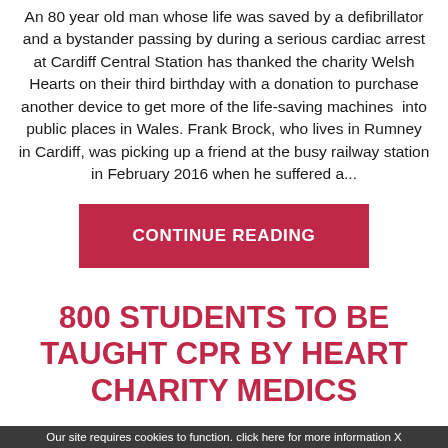An 80 year old man whose life was saved by a defibrillator and a bystander passing by during a serious cardiac arrest at Cardiff Central Station has thanked the charity Welsh Hearts on their third birthday with a donation to purchase another device to get more of the life-saving machines  into public places in Wales. Frank Brock, who lives in Rumney in Cardiff, was picking up a friend at the busy railway station in February 2016 when he suffered a...
CONTINUE READING
800 STUDENTS TO BE TAUGHT CPR BY HEART CHARITY MEDICS
21/04/2015
Our site requires cookies to function. click here for more information X